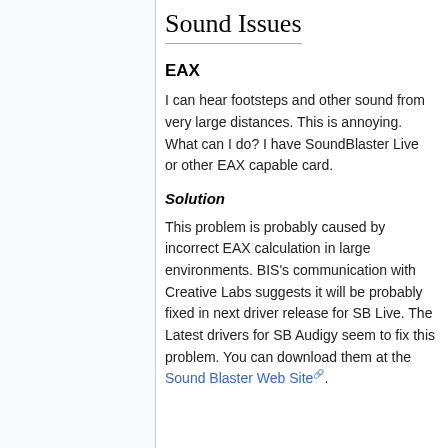Sound Issues
EAX
I can hear footsteps and other sound from very large distances. This is annoying. What can I do? I have SoundBlaster Live or other EAX capable card.
Solution
This problem is probably caused by incorrect EAX calculation in large environments. BIS's communication with Creative Labs suggests it will be probably fixed in next driver release for SB Live. The Latest drivers for SB Audigy seem to fix this problem. You can download them at the Sound Blaster Web Site.